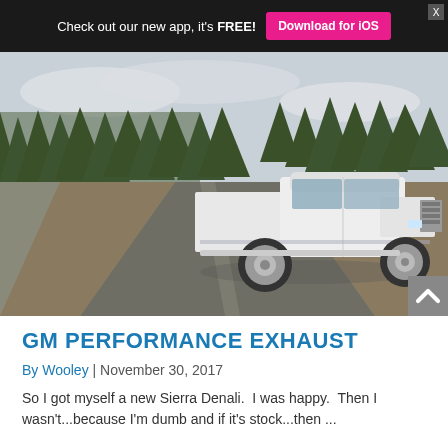Check out our new app, it's FREE! Download for iOS
[Figure (photo): White GMC Sierra Denali pickup truck on a rural road surrounded by pine trees, overcast sky]
GM PERFORMANCE EXHAUST
By Wooley | November 30, 2017
So I got myself a new Sierra Denali.  I was happy.  Then I wasn't...because I'm dumb and if it's stock...then ...